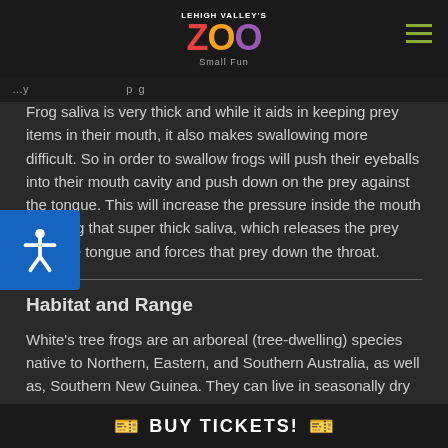LEHIGH VALLEY'S ZOO Small Fun
Frog saliva is very thick and while it aids in keeping prey items in their mouth, it also makes swallowing more difficult. So in order to swallow frogs will push their eyeballs into their mouth cavity and push down on the prey against the tongue. This will increase the pressure inside the mouth liquifying that super thick saliva, which releases the prey from the tongue and forces that prey down the throat.
Habitat and Range
White’s tree frogs are an arboreal (tree-dwelling) species native to Northern, Eastern, and Southern Australia, as well as, Southern New Guinea. They can live in seasonally dry and wet habitats but prefer moist forested and scrubland environments. Because they are so adapted to living in more arid regions, w living in suburban an
While primarily nocturnal, White’s tree frogs have been
BUY TICKETS!